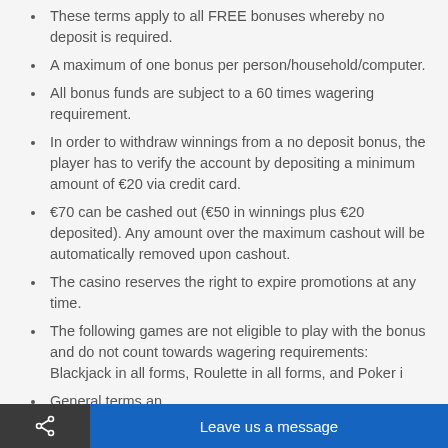These terms apply to all FREE bonuses whereby no deposit is required.
A maximum of one bonus per person/household/computer.
All bonus funds are subject to a 60 times wagering requirement.
In order to withdraw winnings from a no deposit bonus, the player has to verify the account by depositing a minimum amount of €20 via credit card.
€70 can be cashed out (€50 in winnings plus €20 deposited). Any amount over the maximum cashout will be automatically removed upon cashout.
The casino reserves the right to expire promotions at any time.
The following games are not eligible to play with the bonus and do not count towards wagering requirements: Blackjack in all forms, Roulette in all forms, and Poker i...
General terms and...